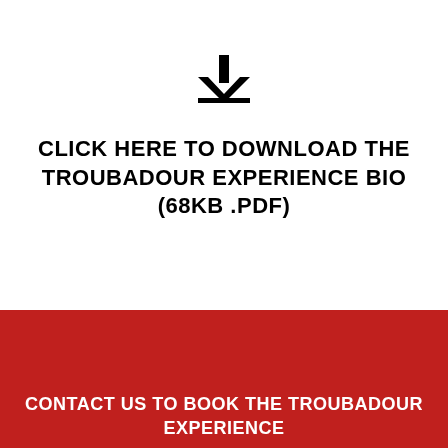[Figure (illustration): Download arrow icon — a downward-pointing arrow above a horizontal base line, black on white]
CLICK HERE TO DOWNLOAD THE TROUBADOUR EXPERIENCE BIO (68KB .PDF)
CONTACT US TO BOOK THE TROUBADOUR EXPERIENCE